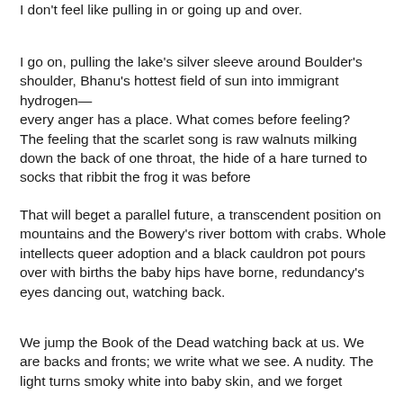I don't feel like pulling in or going up and over.
I go on, pulling the lake's silver sleeve around Boulder's shoulder, Bhanu's hottest field of sun into immigrant hydrogen—
every anger has a place. What comes before feeling?
The feeling that the scarlet song is raw walnuts milking down the back of one throat, the hide of a hare turned to socks that ribbit the frog it was before
That will beget a parallel future, a transcendent position on mountains and the Bowery's river bottom with crabs. Whole intellects queer adoption and a black cauldron pot pours over with births the baby hips have borne, redundancy's eyes dancing out, watching back.
We jump the Book of the Dead watching back at us. We are backs and fronts; we write what we see. A nudity. The light turns smoky white into baby skin, and we forget